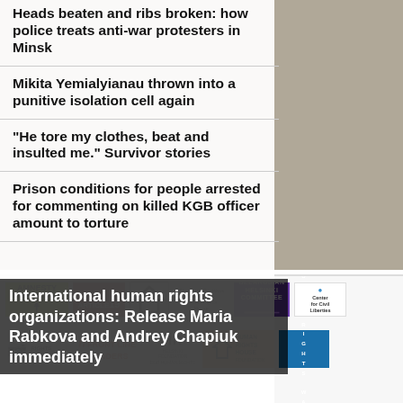Heads beaten and ribs broken: how police treats anti-war protesters in Minsk
Mikita Yemialyianau thrown into a punitive isolation cell again
“He tore my clothes, beat and insulted me.” Survivor stories
Prison conditions for people arrested for commenting on killed KGB officer amount to torture
[Figure (logo): Collection of international human rights organization logos including Amnesty International, Article 19, Belarusian Helsinki Committee, Center for Civil Liberties, Civil Rights Defenders, Front Line Defenders, Helsinki Foundation for Human Rights, Human Rights House Foundation, Human Rights Watch, IDHR, Libereco, Couratice, Norwegian, The Observatory, People, Right]
International human rights organizations: Release Maria Rabkova and Andrey Chapiuk immediately